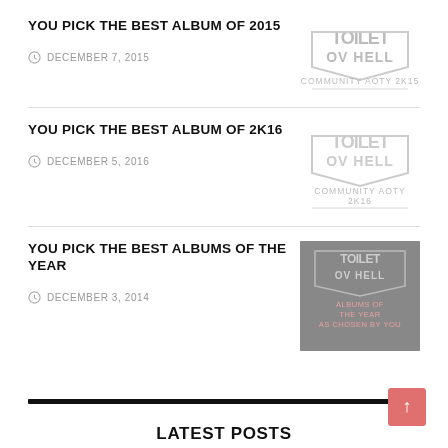YOU PICK THE BEST ALBUM OF 2015
DECEMBER 7, 2015
[Figure (logo): Toilet Ov Hell logo with text COMMUNITY AOTY 2K15]
YOU PICK THE BEST ALBUM OF 2K16
DECEMBER 5, 2016
[Figure (logo): Toilet Ov Hell logo with text COMMUNITY AOTY 2K16]
YOU PICK THE BEST ALBUMS OF THE YEAR
DECEMBER 3, 2014
[Figure (illustration): Toilet Ov Hell logo on grey background with text ALBUMS OF THE YEAR AS CHOSEN BY YOU]
LATEST POSTS